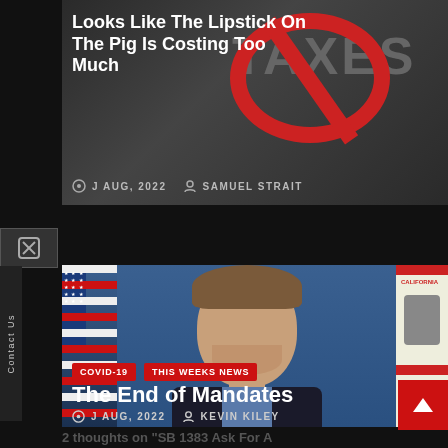Looks Like The Lipstick On The Pig Is Costing Too Much
J AUG, 2022   SAMUEL STRAIT
[Figure (photo): Portrait photo of a man in a suit with US flag and California flag in background]
COVID-19   THIS WEEKS NEWS
The End of Mandates
J AUG, 2022   KEVIN KILEY
2 thoughts on “SB 1383 Ask For A